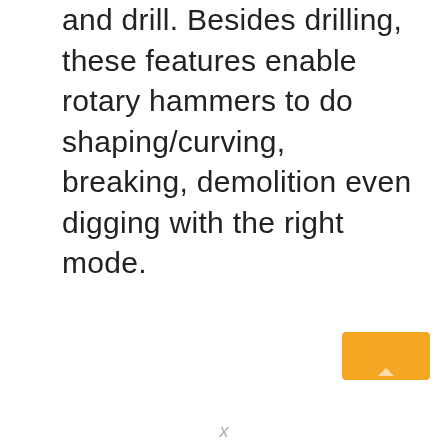and drill. Besides drilling, these features enable rotary hammers to do shaping/curving, breaking, demolition even digging with the right mode.
[Figure (other): Orange rectangular button with a small upward-pointing triangle icon at the bottom center, positioned in the lower-right area of the page.]